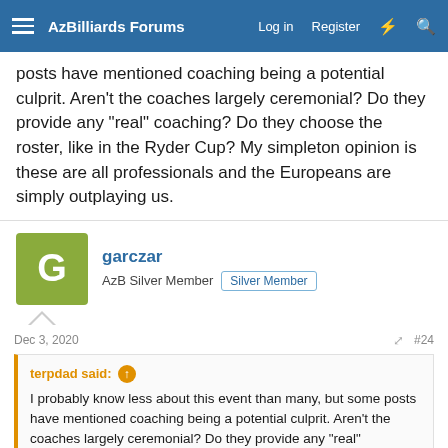AzBilliards Forums | Log in | Register
posts have mentioned coaching being a potential culprit. Aren't the coaches largely ceremonial? Do they provide any "real" coaching? Do they choose the roster, like in the Ryder Cup? My simpleton opinion is these are all professionals and the Europeans are simply outplaying us.
garczar
AzB Silver Member  Silver Member
Dec 3, 2020  #24
terpdad said: ↑
I probably know less about this event than many, but some posts have mentioned coaching being a potential culprit. Aren't the coaches largely ceremonial? Do they provide any "real" coaching? Do they choose the roster, like in the Ryder Cup? My simpleton opinion is these are all professionals and the Europeans are simply outplaying us.